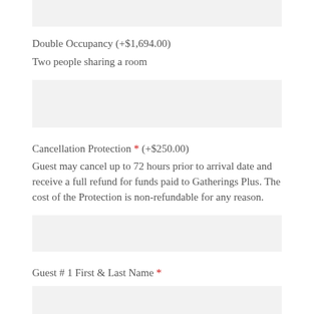Double Occupancy (+$1,694.00)
Two people sharing a room
Cancellation Protection * (+$250.00)
Guest may cancel up to 72 hours prior to arrival date and receive a full refund for funds paid to Gatherings Plus. The cost of the Protection is non-refundable for any reason.
Guest # 1 First & Last Name *